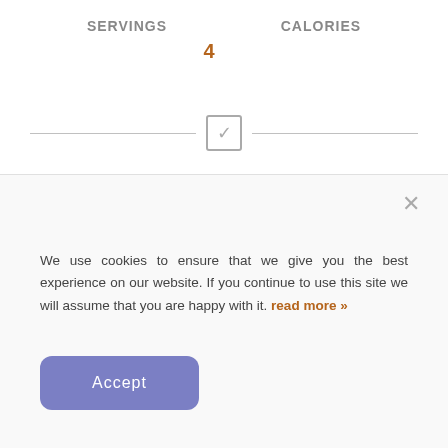SERVINGS  4
CALORIES
[Figure (other): A horizontal divider line with a checked checkbox in the center]
×
We use cookies to ensure that we give you the best experience on our website. If you continue to use this site we will assume that you are happy with it. read more »
Accept